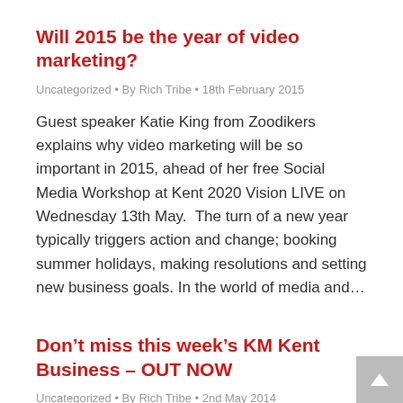Will 2015 be the year of video marketing?
Uncategorized • By Rich Tribe • 18th February 2015
Guest speaker Katie King from Zoodikers explains why video marketing will be so important in 2015, ahead of her free Social Media Workshop at Kent 2020 Vision LIVE on Wednesday 13th May.  The turn of a new year typically triggers action and change; booking summer holidays, making resolutions and setting new business goals. In the world of media and…
Don't miss this week's KM Kent Business – OUT NOW
Uncategorized • By Rich Tribe • 2nd May 2014